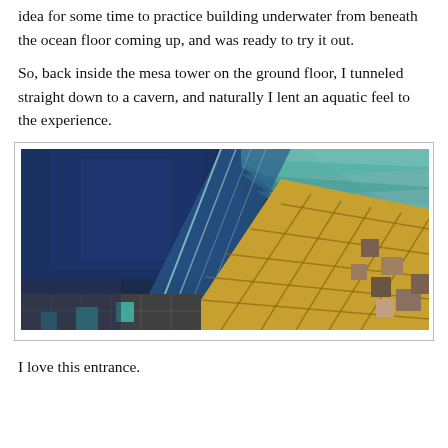idea for some time to practice building underwater from beneath the ocean floor coming up, and was ready to try it out.
So, back inside the mesa tower on the ground floor, I tunneled straight down to a cavern, and naturally I lent an aquatic feel to the experience.
[Figure (photo): Minecraft screenshot showing an underground cavern with an aquatic theme. The view looks upward through a shaft. The left half shows deep blue water/blocks. The right half shows golden/brown sandstone blocks arranged diagonally. Teal and cyan colored blocks are visible in the transition area. The ceiling area shows lighter grey-blue tones. The floor shows grey stone and teal blocks.]
I love this entrance.